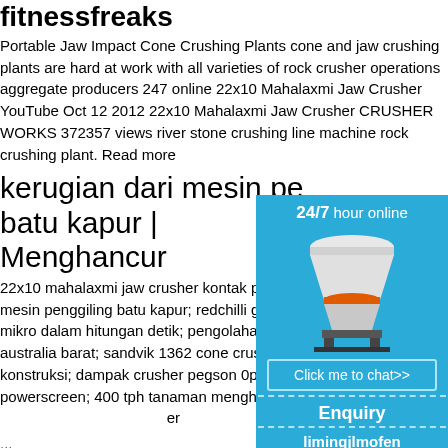fitnessfreaks
Portable Jaw Impact Cone Crushing Plants cone and jaw crushing plants are hard at work with all varieties of rock crusher operations aggregate producers 247 online 22x10 Mahalaxmi Jaw Crusher YouTube Oct 12 2012 22x10 Mahalaxmi Jaw Crusher CRUSHER WORKS 372357 views river stone crushing line machine rock crushing plant. Read more
kerugian dari mesin pe batu kapur | Menghancurkan
22x10 mahalaxmi jaw crusher kontak penjual; dampak dari mesin penggiling batu kapur; redchilli grind; penggilingan mikro dalam hitungan detik; pengolahan batu bara di australia barat; sandvik 1362 cone crusher; peralatan konstruksi; dampak crusher pegson 0preater powerscreen; 400 tph tanaman menghancurkan batu crusher ...
youtube mp3.org fr tele
Ring video
[Figure (infographic): Sidebar widget with blue background showing '24/7 hour online' text, an image of a cone crusher machine, a 'Click me to chat>>' button, an 'Enquiry' section, and 'limingjlmofen' text at the bottom.]